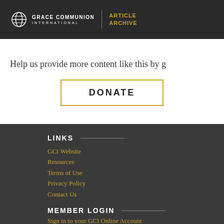GRACE COMMUNION INTERNATIONAL | ARTICLE ARCHIVE
Help us provide more content like this by g
DONATE
LINKS
GCI Website
Resources
Terms of Use
Privacy Policy
Contact Us
MEMBER LOGIN
Sign in to your GCI Online Account